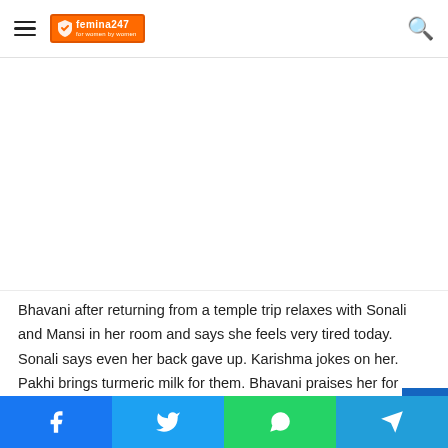femina247 (logo)
[Figure (photo): Large image placeholder area (white/blank) below the header navigation bar]
Bhavani after returning from a temple trip relaxes with Sonali and Mansi in her room and says she feels very tired today. Sonali says even her back gave up. Karishma jokes on her. Pakhi brings turmeric milk for them. Bhavani praises her for taking care of the family. Sonali asks Karishma to bring her and Omkar's milk glass to her room and walks away angrily